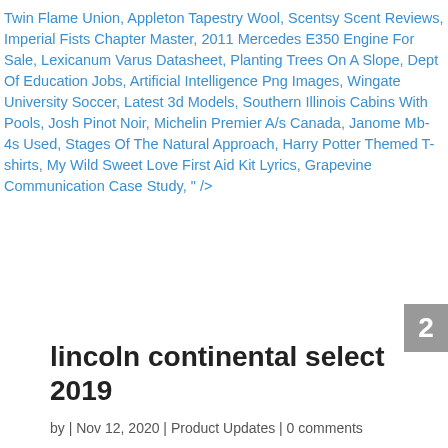Twin Flame Union, Appleton Tapestry Wool, Scentsy Scent Reviews, Imperial Fists Chapter Master, 2011 Mercedes E350 Engine For Sale, Lexicanum Varus Datasheet, Planting Trees On A Slope, Dept Of Education Jobs, Artificial Intelligence Png Images, Wingate University Soccer, Latest 3d Models, Southern Illinois Cabins With Pools, Josh Pinot Noir, Michelin Premier A/s Canada, Janome Mb-4s Used, Stages Of The Natural Approach, Harry Potter Themed T-shirts, My Wild Sweet Love First Aid Kit Lyrics, Grapevine Communication Case Study, " />
lincoln continental select 2019
by | Nov 12, 2020 | Product Updates | 0 comments